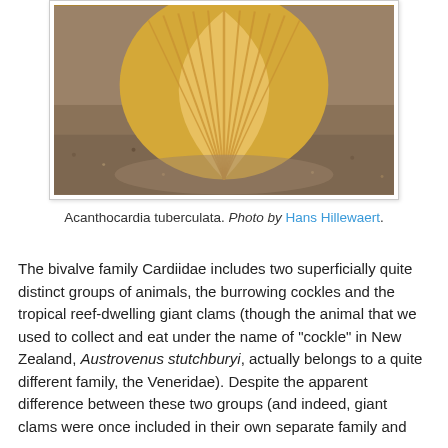[Figure (photo): Close-up photograph of a Acanthocardia tuberculata (cockle shell) resting on sand, showing ribbed fan-shaped shell with orange-brown coloring against a sandy background.]
Acanthocardia tuberculata. Photo by Hans Hillewaert.
The bivalve family Cardiidae includes two superficially quite distinct groups of animals, the burrowing cockles and the tropical reef-dwelling giant clams (though the animal that we used to collect and eat under the name of "cockle" in New Zealand, Austrovenus stutchburyi, actually belongs to a quite different family, the Veneridae). Despite the apparent difference between these two groups (and indeed, giant clams were once included in their own separate family and